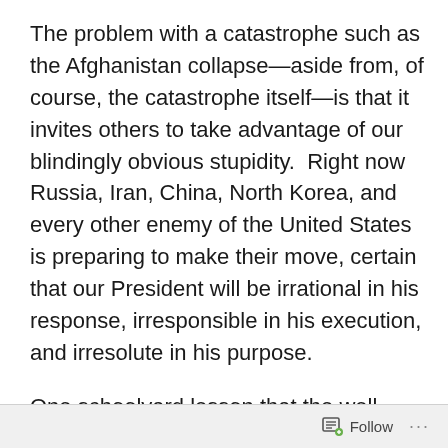The problem with a catastrophe such as the Afghanistan collapse—aside from, of course, the catastrophe itself—is that it invites others to take advantage of our blindingly obvious stupidity.  Right now Russia, Iran, China, North Korea, and every other enemy of the United States is preparing to make their move, certain that our President will be irrational in his response, irresponsible in his execution, and irresolute in his purpose.
One schoolyard lesson that the well-trained defeatists now in charge of our nation's security seem to have missed is this: Weakness only encourages bullies to strike harder.  Given the humiliating abandonment of our mission in Afghanistan, why should another enemy believe we will step up to defend our allies and interests around the world
Follow ···